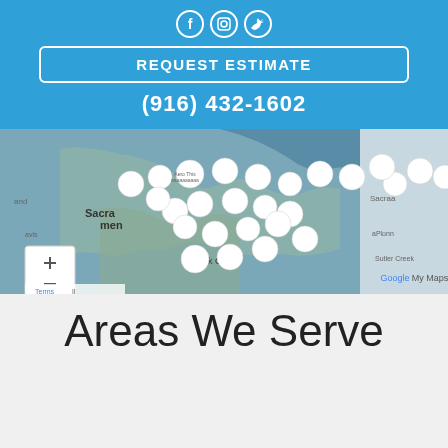[Figure (other): Social media icons: Facebook, Instagram, Twitter in circular outlines on blue background]
REQUEST ESTIMATE
(916) 432-1602
[Figure (map): Google My Maps showing Sacramento area with multiple white circular location markers clustered around Sacramento, Elk Grove, and surrounding areas]
Areas We Serve